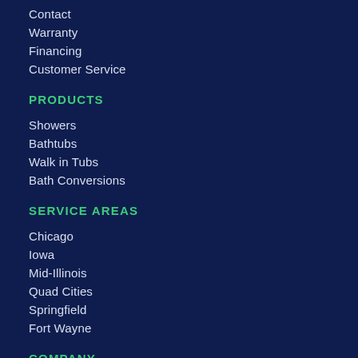Contact
Warranty
Financing
Customer Service
PRODUCTS
Showers
Bathtubs
Walk in Tubs
Bath Conversions
SERVICE AREAS
Chicago
Iowa
Mid-Illinois
Quad Cities
Springfield
Fort Wayne
COMPANY
About
Blog
Offers